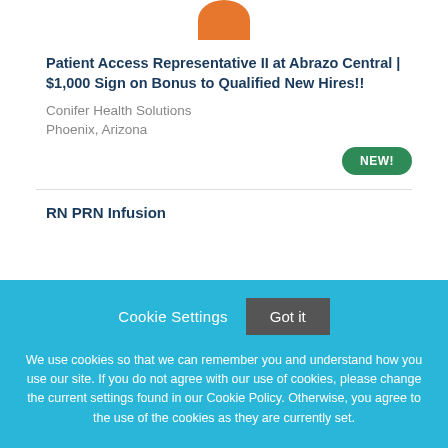[Figure (logo): Orange semicircle logo at top center]
Patient Access Representative II at Abrazo Central | $1,000 Sign on Bonus to Qualified New Hires!!
Conifer Health Solutions
Phoenix, Arizona
NEW!
RN PRN Infusion
Cookie Settings   Got it

We use cookies so that we can remember you and understand how you use our site. If you do not agree with our use of cookies, please change the current settings found in our Cookie Policy. Otherwise, you agree to the use of the cookies as they are currently set.